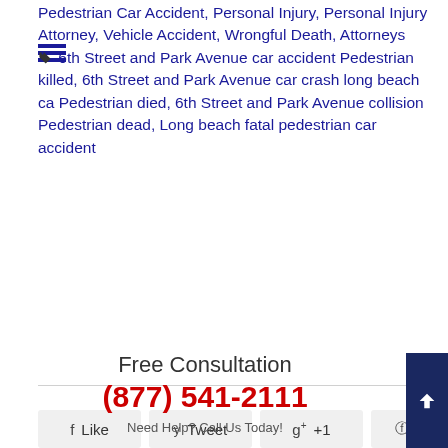Pedestrian Car Accident, Personal Injury, Personal Injury Attorney, Vehicle Accident, Wrongful Death, Attorneys
🏷 6th Street and Park Avenue car accident Pedestrian killed, 6th Street and Park Avenue car crash long beach ca Pedestrian died, 6th Street and Park Avenue collision Pedestrian dead, Long beach fatal pedestrian car accident
[Figure (infographic): Social sharing buttons: Like (Facebook), Tweet (Twitter), +1 (Google+), Pin it (Pinterest)]
Free Consultation
(877) 541-2111
Need Help? Call Us Today!